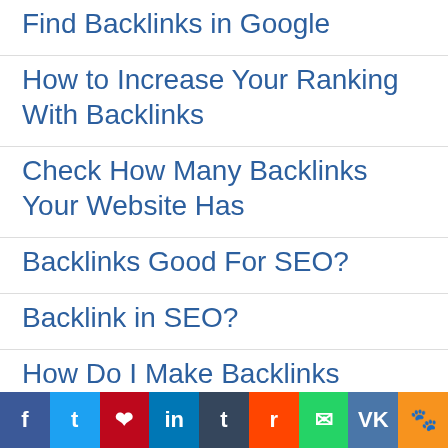Find Backlinks in Google
How to Increase Your Ranking With Backlinks
Check How Many Backlinks Your Website Has
Backlinks Good For SEO?
Backlink in SEO?
How Do I Make Backlinks Faster?
f  t  p  in  t  r  w  VK  ok